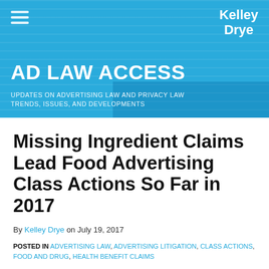AD LAW ACCESS — UPDATES ON ADVERTISING LAW AND PRIVACY LAW TRENDS, ISSUES, AND DEVELOPMENTS
[Figure (logo): Kelley Drye logo in white text on blue background, top right of header banner]
Missing Ingredient Claims Lead Food Advertising Class Actions So Far in 2017
By Kelley Drye on July 19, 2017
POSTED IN ADVERTISING LAW, ADVERTISING LITIGATION, CLASS ACTIONS, FOOD AND DRUG, HEALTH BENEFIT CLAIMS